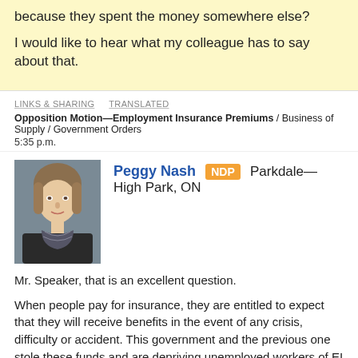because they spent the money somewhere else?
I would like to hear what my colleague has to say about that.
LINKS & SHARING   TRANSLATED
Opposition Motion—Employment Insurance Premiums / Business of Supply / Government Orders
5:35 p.m.
[Figure (photo): Headshot photo of Peggy Nash, a middle-aged woman with light brown hair, wearing a dark patterned scarf.]
Peggy Nash NDP  Parkdale—High Park, ON
Mr. Speaker, that is an excellent question.

When people pay for insurance, they are entitled to expect that they will receive benefits in the event of any crisis, difficulty or accident. This government and the previous one stole these funds and are depriving unemployed workers of EI benefits when they need them. That is completely unfair and unjustified.

If this motion is adopted by the House, EI premiums will be